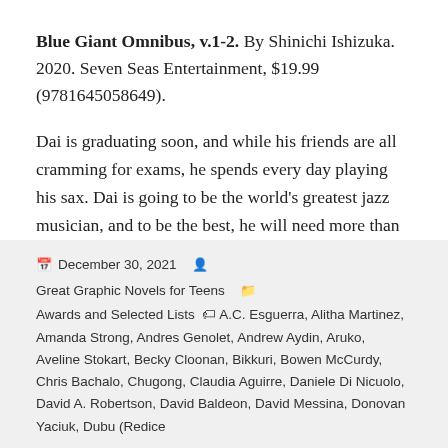Blue Giant Omnibus, v.1-2. By Shinichi Ishizuka. 2020. Seven Seas Entertainment, $19.99 (9781645058649).
Dai is graduating soon, and while his friends are all cramming for exams, he spends every day playing his sax. Dai is going to be the world's greatest jazz musician, and to be the best, he will need more than just passion.
Continue reading →
December 30, 2021  Great Graphic Novels for Teens  Awards and Selected Lists  A.C. Esguerra, Alitha Martinez, Amanda Strong, Andres Genolet, Andrew Aydin, Aruko, Aveline Stokart, Becky Cloonan, Bikkuri, Bowen McCurdy, Chris Bachalo, Chugong, Claudia Aguirre, Daniele Di Nicuolo, David A. Robertson, David Baldeon, David Messina, Donovan Yaciuk, Dubu (Redice